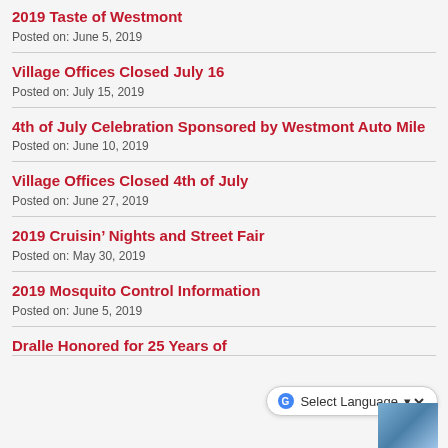2019 Taste of Westmont
Posted on: June 5, 2019
Village Offices Closed July 16
Posted on: July 15, 2019
4th of July Celebration Sponsored by Westmont Auto Mile
Posted on: June 10, 2019
Village Offices Closed 4th of July
Posted on: June 27, 2019
2019 Cruisin’ Nights and Street Fair
Posted on: May 30, 2019
2019 Mosquito Control Information
Posted on: June 5, 2019
Dralle Honored for 25 Years of